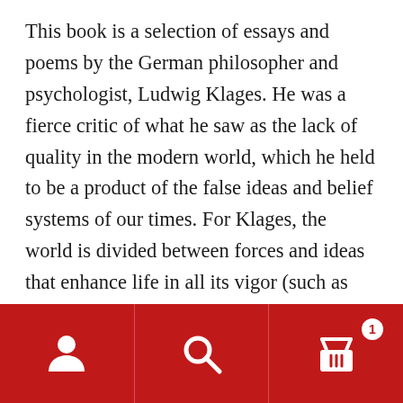This book is a selection of essays and poems by the German philosopher and psychologist, Ludwig Klages. He was a fierce critic of what he saw as the lack of quality in the modern world, which he held to be a product of the false ideas and belief systems of our times. For Klages, the world is divided between forces and ideas that enhance life in all its vigor (such as those of Nietzsche), and those which oppose life by reducing it to mere materialism, and by portraying it as something to be shunned as innately corrupt and evil (such as modern religion). To overcome the life-denying forces, Klages calls for a return to the pagan view of life, and to a direct relationship between humanity and the natural world, and opposition to the destruction of nature by the agents of progress. He also opposed the distortions and falsehoods which he claimed
[Figure (other): Bottom navigation bar with red background containing three icons: a person/account icon on the left, a search/magnifying glass icon in the center, and a shopping basket icon with a badge showing '1' on the right.]